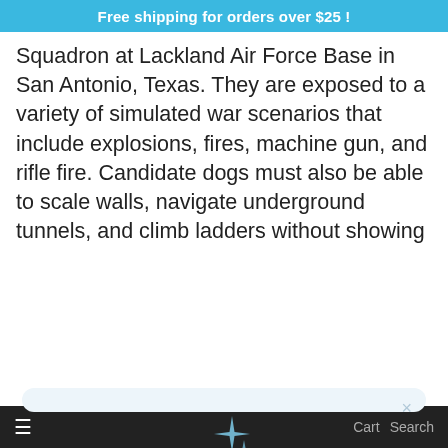Free shipping for orders over $25 !
Squadron at Lackland Air Force Base in San Antonio, Texas. They are exposed to a variety of simulated war scenarios that include explosions, fires, machine gun, and rifle fire. Candidate dogs must also be able to scale walls, navigate underground tunnels, and climb ladders without showing
[Figure (screenshot): Modal popup overlay with sparkle icon, 'Unlock exclusive rewards and perks' heading, 'Sign up or Log in' subtext, a 'Sign up' button, and 'Already have an account? Sign in' footer link]
Cart  Search